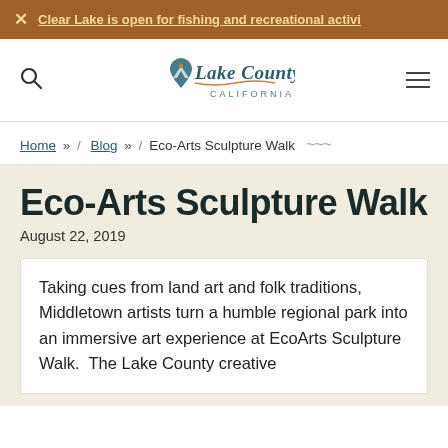Clear Lake is open for fishing and recreational activi...
[Figure (logo): Lake County California logo with mountain and location pin icon]
Home » / Blog » / Eco-Arts Sculpture Walk
Eco-Arts Sculpture Walk
August 22, 2019
Taking cues from land art and folk traditions, Middletown artists turn a humble regional park into an immersive art experience at EcoArts Sculpture Walk.  The Lake County creative